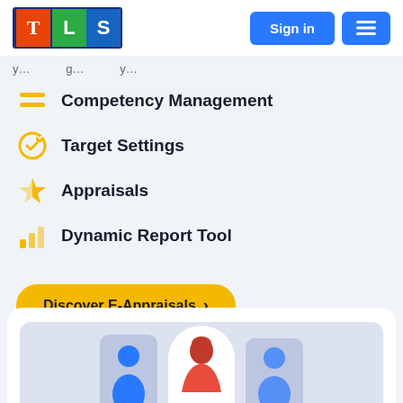TLS — Sign in
y... ...g... ...y
Competency Management
Target Settings
Appraisals
Dynamic Report Tool
Discover E-Appraisals >
[Figure (illustration): White card with three illustrated person avatars at the bottom of the page]